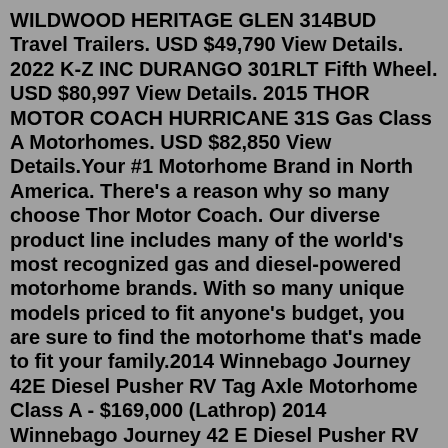WILDWOOD HERITAGE GLEN 314BUD Travel Trailers. USD $49,790 View Details. 2022 K-Z INC DURANGO 301RLT Fifth Wheel. USD $80,997 View Details. 2015 THOR MOTOR COACH HURRICANE 31S Gas Class A Motorhomes. USD $82,850 View Details.Your #1 Motorhome Brand in North America. There's a reason why so many choose Thor Motor Coach. Our diverse product line includes many of the world's most recognized gas and diesel-powered motorhome brands. With so many unique models priced to fit anyone's budget, you are sure to find the motorhome that's made to fit your family.2014 Winnebago Journey 42E Diesel Pusher RV Tag Axle Motorhome Class A - $169,000 (Lathrop) 2014 Winnebago Journey 42 E Diesel Pusher RV Tag Axle Motorhome Class AVin#: 4UZACUCY4ECFN5998CLEAN AND CLEAR TITLE!Runs and Drives Great, Normal wear and tear, Ready for Fun Now! Drove in from over 9 hours away!NADA Book Value: $216,285BUY IT NOW PRICE - Find how we show Motorhome RV for sale by